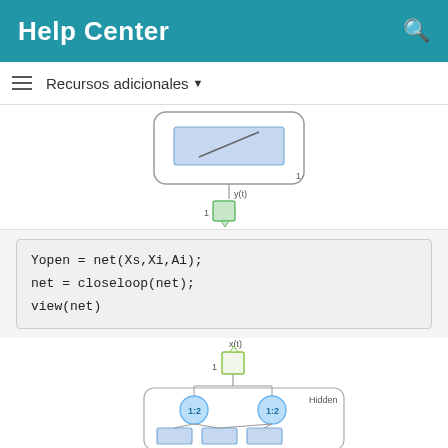Help Center
Recursos adicionales ▼
[Figure (engineering-diagram): Neural network open-loop diagram showing a slanted rectangle inside a rounded container with output labeled y(t), connected to a green output node labeled 1]
Yopen = net(Xs,Xi,Ai);
net = closeloop(net);
view(net)
[Figure (engineering-diagram): Neural network closed-loop diagram showing input node x(t) labeled 1, connected to hidden layer nodes labeled 1:2 and 1:2 inside a rounded Hidden container with blue circular nodes and rectangles below]